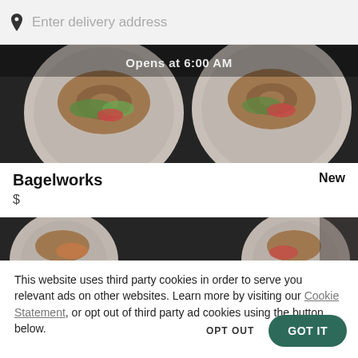[Figure (screenshot): Search bar with location pin icon and placeholder text 'Enter delivery address']
[Figure (photo): Top hero image showing food/bagel plates on dark background with overlaid text 'Opens at 6:00 AM']
Bagelworks
$
New
[Figure (photo): Partial bottom hero image showing food plates on dark background]
This website uses third party cookies in order to serve you relevant ads on other websites. Learn more by visiting our Cookie Statement, or opt out of third party ad cookies using the button below.
OPT OUT
GOT IT